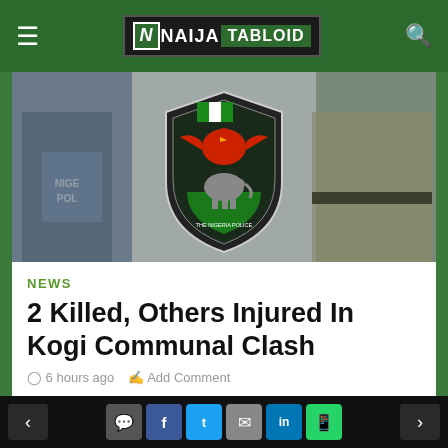Naija Tabloid
[Figure (photo): Nigerian police officers in uniform with riot shields, and the Nigeria Police Force crest/logo (shield with eagle) in the center]
NEWS
2 Killed, Others Injured In Kogi Communal Clash
6 hours ago   Add Comment
The Kogi State command of the Nigeria Police Force has confirmed the killing of two people during a fresh communal clash in the state. Naija
< | comment | f | t | mail | in | whatsapp | >